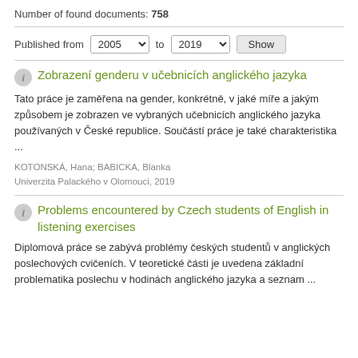Number of found documents: 758
Published from 2005 to 2019 Show
Zobrazení genderu v učebnicích anglického jazyka
Tato práce je zaměřena na gender, konkrétně, v jaké míře a jakým způsobem je zobrazen ve vybraných učebnicích anglického jazyka používaných v České republice. Součástí práce je také charakteristika ...
KOTONSKÁ, Hana; BABICKA, Blanka
Univerzita Palackého v Olomouci, 2019
Problems encountered by Czech students of English in listening exercises
Diplomová práce se zabývá problémy českých studentů v anglických poslechových cvičeních. V teoretické části je uvedena základní problematika poslechu v hodinách anglického jazyka a seznam ...